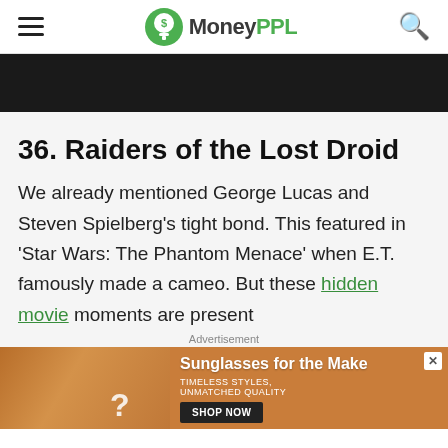MoneyPPL
[Figure (photo): Dark banner image at top of article]
36. Raiders of the Lost Droid
We already mentioned George Lucas and Steven Spielberg's tight bond. This featured in 'Star Wars: The Phantom Menace' when E.T. famously made a cameo. But these hidden movie moments are present
Advertisement
[Figure (photo): Advertisement banner for sunglasses: 'Sunglasses for the Make' with two women wearing sunglasses. Tagline: TIMELESS STYLES, UNMATCHED QUALITY. SHOP NOW button.]